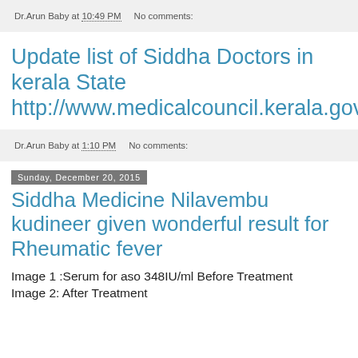Dr.Arun Baby at 10:49 PM    No comments:
Update list of Siddha Doctors in kerala State http://www.medicalcouncil.kerala.gov.in/images/tcmc2014/siddhanet.pdf
Dr.Arun Baby at 1:10 PM    No comments:
Sunday, December 20, 2015
Siddha Medicine Nilavembu kudineer given wonderful result for Rheumatic fever
Image 1 :Serum for aso 348IU/ml Before Treatment
Image 2: After Treatment